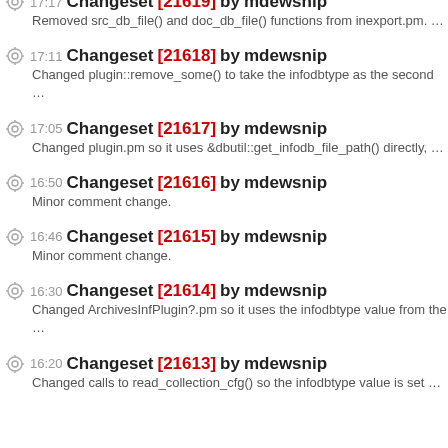17:11 Changeset [21618] by mdewsnip — Changed plugin::remove_some() to take the infodbtype as the second …
17:05 Changeset [21617] by mdewsnip — Changed plugin.pm so it uses &dbutil::get_infodb_file_path() directly, …
16:50 Changeset [21616] by mdewsnip — Minor comment change.
16:46 Changeset [21615] by mdewsnip — Minor comment change.
16:30 Changeset [21614] by mdewsnip — Changed ArchivesInfPlugin?.pm so it uses the infodbtype value from the …
16:20 Changeset [21613] by mdewsnip — Changed calls to read_collection_cfg() so the infodbtype value is set …